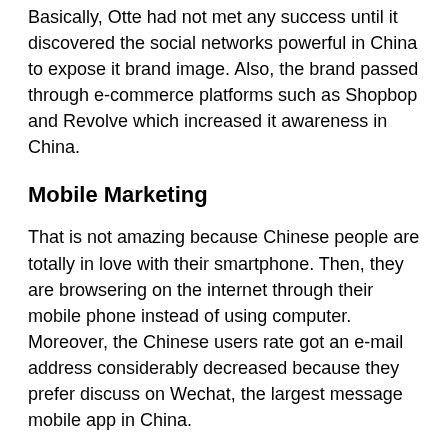Basically, Otte had not met any success until it discovered the social networks powerful in China to expose it brand image. Also, the brand passed through e-commerce platforms such as Shopbop and Revolve which increased it awareness in China.
Mobile Marketing
That is not amazing because Chinese people are totally in love with their smartphone. Then, they are browsering on the internet through their mobile phone instead of using computer. Moreover, the Chinese users rate got an e-mail address considerably decreased because they prefer discuss on Wechat, the largest message mobile app in China.